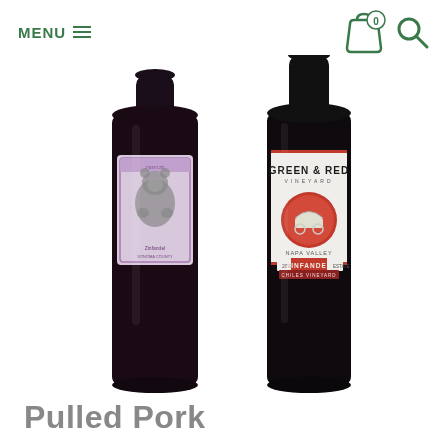MENU
[Figure (photo): Two wine bottles side by side on a white background. Left bottle has a purple/lavender label with a bear illustration (Zinfandel). Right bottle has a white label with the Green & Red Vineyard brand, featuring a circular red logo with a covered wagon illustration, labeled Napa Valley Zinfandel 2012, Chiles Vineyard.]
Pulled Pork